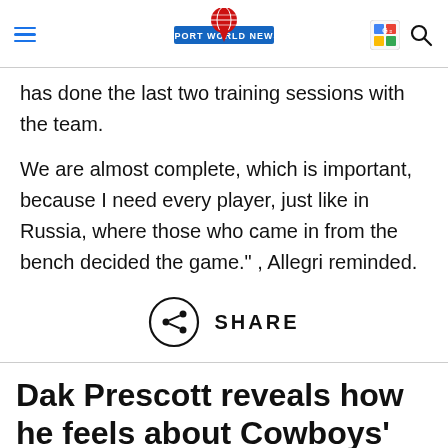Sport World News
has done the last two training sessions with the team.
We are almost complete, which is important, because I need every player, just like in Russia, where those who came in from the bench decided the game." , Allegri reminded.
[Figure (other): Share button icon with circle and share symbol, labeled SHARE]
Dak Prescott reveals how he feels about Cowboys' chances